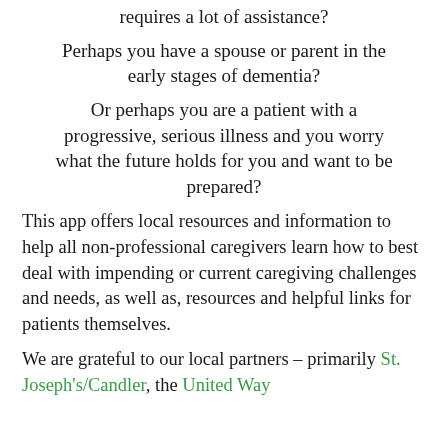requires a lot of assistance?
Perhaps you have a spouse or parent in the early stages of dementia?
Or perhaps you are a patient with a progressive, serious illness and you worry what the future holds for you and want to be prepared?
This app offers local resources and information to help all non-professional caregivers learn how to best deal with impending or current caregiving challenges and needs, as well as, resources and helpful links for patients themselves.
We are grateful to our local partners – primarily St. Joseph's/Candler, the United Way